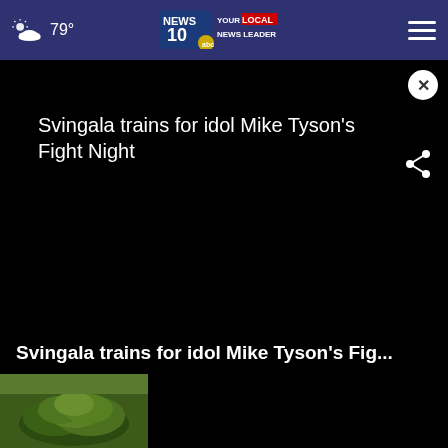79° NEWS 10 YOUR LOCAL NEWS LEADER
Svingala trains for idol Mike Tyson's Fight Night
[Figure (screenshot): Black video player area with close (X) button and share icon]
Svingala trains for idol Mike Tyson's Fig...
[Figure (photo): Thumbnail image showing green foliage/bush from above]